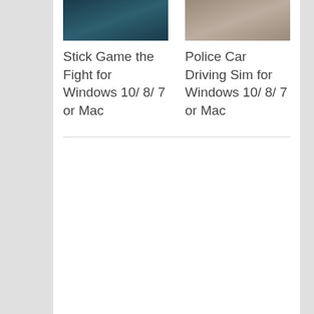[Figure (screenshot): Top portion of a game thumbnail for Stick Game the Fight, dark teal/blue tones]
[Figure (screenshot): Top portion of a game thumbnail for Police Car Driving Sim, beige/brown tones]
Stick Game the Fight for Windows 10/ 8/ 7 or Mac
Police Car Driving Sim for Windows 10/ 8/ 7 or Mac